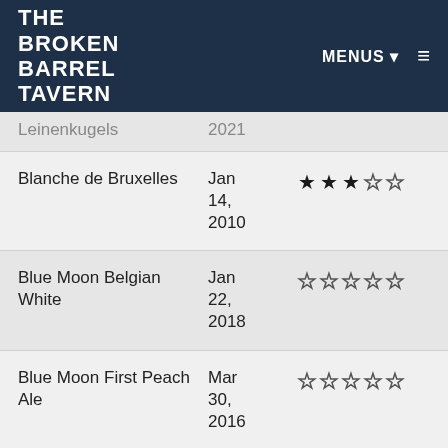THE BROKEN BARREL TAVERN | MENUS
| Beer Name | Date | Rating |
| --- | --- | --- |
| Blanche de Bruxelles | Jan 14, 2010 | ★★★☆☆ |
| Blue Moon Belgian White | Jan 22, 2018 | ☆☆☆☆☆ |
| Blue Moon First Peach Ale | Mar 30, 2016 | ☆☆☆☆☆ |
| Blue Moon Honey Wheat | Jul 18, … | ☆☆☆☆☆ |